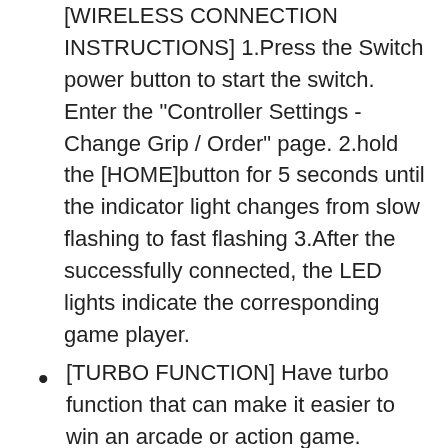[WIRELESS CONNECTION INSTRUCTIONS] 1.Press the Switch power button to start the switch. Enter the "Controller Settings - Change Grip / Order" page. 2.hold the [HOME]button for 5 seconds until the indicator light changes from slow flashing to fast flashing 3.After the successfully connected, the LED lights indicate the corresponding game player.
[TURBO FUNCTION] Have turbo function that can make it easier to win an arcade or action game.